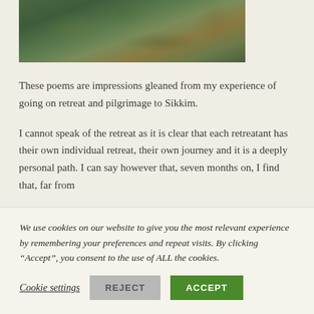[Figure (photo): Aerial or elevated view of forested mountainous terrain, green and brown tones]
These poems are impressions gleaned from my experience of going on retreat and pilgrimage to Sikkim.
I cannot speak of the retreat as it is clear that each retreatant has their own individual retreat, their own journey and it is a deeply personal path. I can say however that, seven months on, I find that, far from
We use cookies on our website to give you the most relevant experience by remembering your preferences and repeat visits. By clicking “Accept”, you consent to the use of ALL the cookies.
Cookie settings   REJECT   ACCEPT